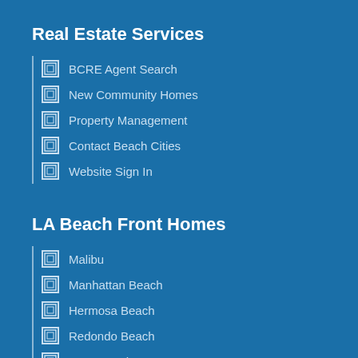Real Estate Services
BCRE Agent Search
New Community Homes
Property Management
Contact Beach Cities
Website Sign In
LA Beach Front Homes
Malibu
Manhattan Beach
Hermosa Beach
Redondo Beach
Long Beach
Luxury Homes
Pelican Hill
Pelican Crest